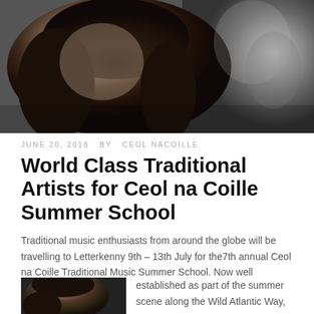[Figure (photo): Black and white close-up portrait photograph of a woman with curly dark hair looking downward, with another figure partially visible in the background on the right]
JUNE 20, 2018  BY  CEOL NACOILLE
World Class Traditional Artists for Ceol na Coille Summer School
Traditional music enthusiasts from around the globe will be travelling to Letterkenny 9th – 13th July for the7th annual Ceol na Coille Traditional Music Summer School. Now well established as part of the summer scene along the Wild Atlantic Way,
[Figure (photo): Black and white portrait photograph of a person with dark hair, partial view cropped at bottom of page]